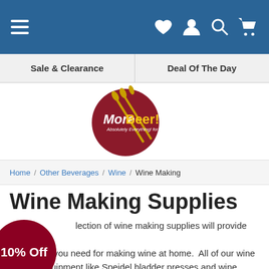MoreBeer! navigation bar with hamburger menu, heart, user, search, and cart icons
Sale & Clearance   Deal Of The Day
[Figure (logo): MoreBeer! logo — red circle with wheat stalks and text 'MoreBeer! Absolutely Everything! for Beer Making']
Home / Other Beverages / Wine / Wine Making
Wine Making Supplies
Our collection of wine making supplies will provide you with everything you need for making wine at home.  All of our wine making equipment like Speidel bladder presses and wine tanks, or Buon Vino crusher destemmers, are some of the highest quality and available at great prices.  We also have close to 100 different wine
[Figure (other): Red circular badge with white text '10% Off']